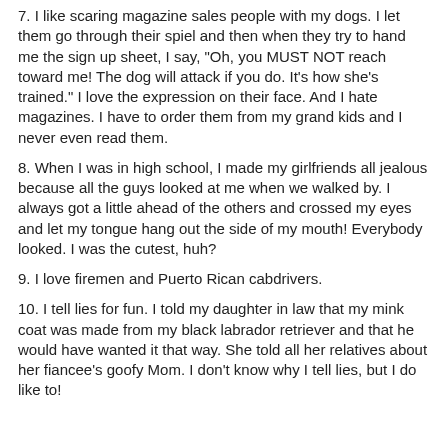7. I like scaring magazine sales people with my dogs. I let them go through their spiel and then when they try to hand me the sign up sheet, I say, "Oh, you MUST NOT reach toward me! The dog will attack if you do. It's how she's trained." I love the expression on their face. And I hate magazines. I have to order them from my grand kids and I never even read them.
8. When I was in high school, I made my girlfriends all jealous because all the guys looked at me when we walked by. I always got a little ahead of the others and crossed my eyes and let my tongue hang out the side of my mouth! Everybody looked. I was the cutest, huh?
9. I love firemen and Puerto Rican cabdrivers.
10. I tell lies for fun. I told my daughter in law that my mink coat was made from my black labrador retriever and that he would have wanted it that way. She told all her relatives about her fiancee's goofy Mom. I don't know why I tell lies, but I do like to!